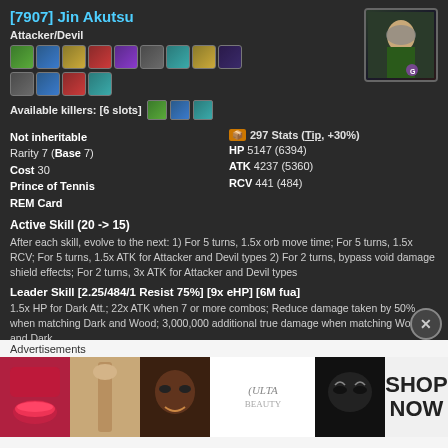[7907] Jin Akutsu
Attacker/Devil
[Figure (infographic): Two rows of colored skill/type icons]
Available killers: [6 slots]
Not inheritable
297 Stats (Tip, +30%)
Rarity 7 (Base 7)
HP 5147 (6394)
Cost 30
ATK 4237 (5360)
Prince of Tennis
RCV 441 (484)
REM Card
Active Skill (20 -> 15)
After each skill, evolve to the next: 1) For 5 turns, 1.5x orb move time; For 5 turns, 1.5x RCV; For 5 turns, 1.5x ATK for Attacker and Devil types 2) For 2 turns, bypass void damage shield effects; For 2 turns, 3x ATK for Attacker and Devil types
Leader Skill [2.25/484/1 Resist 75%] [9x eHP] [6M fua]
1.5x HP for Dark Att.; 22x ATK when 7 or more combos; Reduce damage taken by 50% when matching Dark and Wood; 3,000,000 additional true damage when matching Wood and Dark
Fuse  Help [Equiv.]
[Figure (photo): Character portrait of Jin Akutsu]
Advertisements
[Figure (photo): Ulta Beauty advertisement banner]